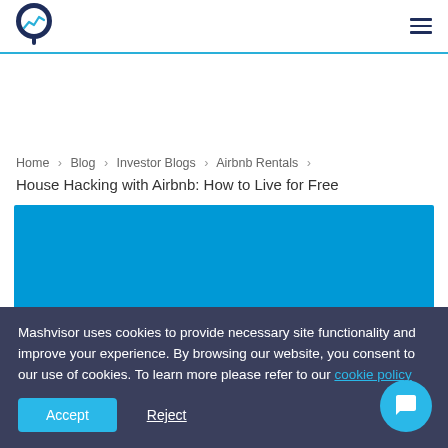[Figure (logo): Mashvisor logo: a map pin with chart/graph icon in dark navy and blue]
Mashvisor website header with logo and hamburger menu
Home > Blog > Investor Blogs > Airbnb Rentals > House Hacking with Airbnb: How to Live for Free
House Hacking with Airbnb: How to Live for Free
[Figure (photo): Blue hero image banner for the article]
Mashvisor uses cookies to provide necessary site functionality and improve your experience. By browsing our website, you consent to our use of cookies. To learn more please refer to our cookie policy
Accept  Reject